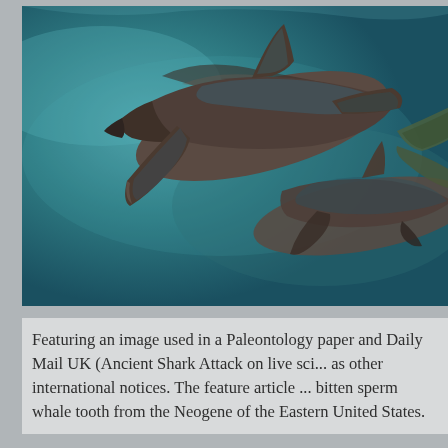[Figure (illustration): Artistic illustration of two ancient sharks (likely Megalodon or similar prehistoric sharks) swimming underwater against a teal/blue-green background. The sharks are depicted with dark brownish-grey coloring with textured skin, shown from above at an angle, with visible fins and tails.]
Featuring an image used in a Paleontology paper and Daily Mail UK (Ancient Shark Attack on live sci... as other international notices. The feature article ... bitten sperm whale tooth from the Neogene of the Eastern United States.